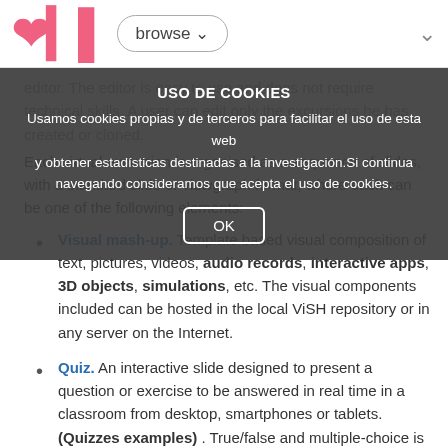ViSH   browse ∨
USO DE COOKIES
Usamos cookies propias y de terceros para facilitar el uso de esta web y obtener estadísticas destinadas a la investigación. Si continua navegando consideramos que acepta el uso de cookies.
OK
editor. The editor is easy to use and does not require technical skills. A user can edit only the excursions he has created or cloned.
Each virtual excursion is organised as a sequence of slides, with a standard slide or viewgraph format, where each can be one of the following elements:
Visual mash-up. Template based visual composition of text, pictures, videos, audio records, interactive apps, 3D objects, simulations, etc. The visual components included can be hosted in the local ViSH repository or in any server on the Internet.
Quiz. An interactive slide designed to present a question or exercise to be answered in real time in a classroom from desktop, smartphones or tablets. (Quizzes examples) . True/false and multiple-choice is supported. Self evaluation or mobile, tablet PC based audience response system (ARS) can be added to the a quiz.